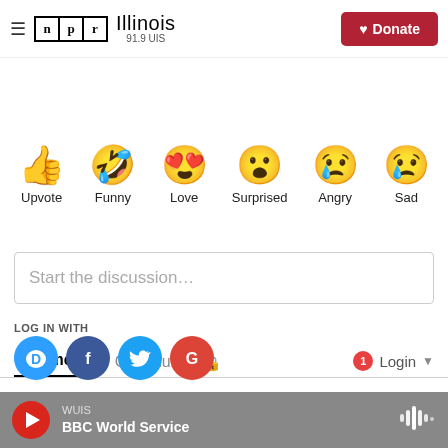[Figure (logo): NPR Illinois 91.9 UIS logo with hamburger menu and Donate button]
[Figure (infographic): Six reaction emojis: Upvote (thumbs up), Funny (laughing face), Love (heart eyes), Surprised (shocked face), Angry (crying face), Sad (sad face with tear)]
Comments   Community 🔒   1 Login ▾
♡ Favorite   Sort by Best ▾
Start the discussion...
LOG IN WITH
[Figure (infographic): Social login icons: Disqus (blue circle D), Facebook (dark blue circle f), Twitter (light blue circle bird), Google (red circle G)]
OR SIGN UP WITH DISQUS ?
WUIS   BBC World Service